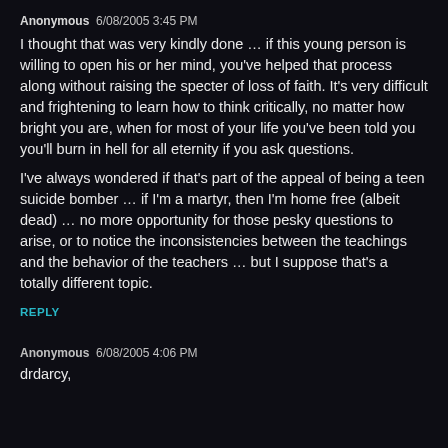Anonymous  6/08/2005 3:45 PM
I thought that was very kindly done … if this young person is willing to open his or her mind, you've helped that process along without raising the specter of loss of faith. It's very difficult and frightening to learn how to think critically, no matter how bright you are, when for most of your life you've been told you you'll burn in hell for all eternity if you ask questions.
I've always wondered if that's part of the appeal of being a teen suicide bomber … if I'm a martyr, then I'm home free (albeit dead) … no more opportunity for those pesky questions to arise, or to notice the inconsistencies between the teachings and the behavior of the teachers … but I suppose that's a totally different topic.
REPLY
Anonymous  6/08/2005 4:06 PM
drdarcy,